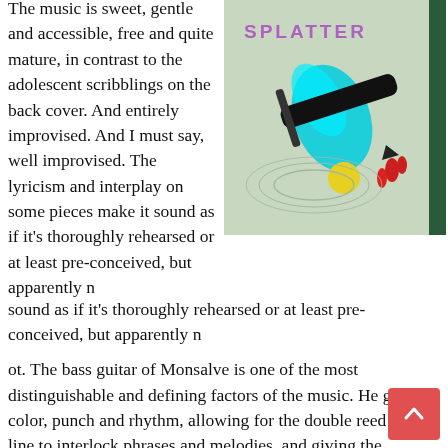The music is sweet, gentle and accessible, free and quite mature, in contrast to the adolescent scribblings on the back cover. And entirely improvised. And I must say, well improvised. The lyricism and interplay on some pieces make it sound as if it's thoroughly rehearsed or at least pre-conceived, but apparently n
[Figure (illustration): Album cover for 'Splatter - music for misanthropes'. Light green background with a stylized black marker/pen illustration, a cyan paint splash, a yellow circle, and red drips. Text 'SPLATTER' in purple handwriting at top, 'music for misanthropes' in white text on dark green vertical band on right side.]
ot. The bass guitar of Monsalve is one of the most distinguishable and defining factors of the music. He gives color, punch and rhythm, allowing for the double reed front line to interlock phrases and melodies, and giving the excellent drummer the opportunity to play on or around the beat at leasure. Both Kaluza and Taylor are really good and creative, not trying to imitate, but making their own sound. It all Sounds young, crisp, fresh, modern, with rock-influences of course, and